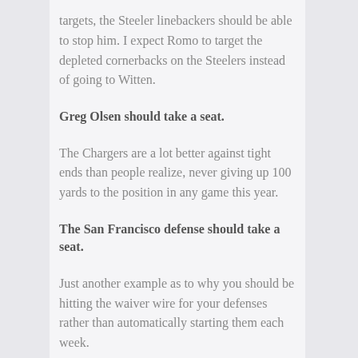targets, the Steeler linebackers should be able to stop him. I expect Romo to target the depleted cornerbacks on the Steelers instead of going to Witten.
Greg Olsen should take a seat.
The Chargers are a lot better against tight ends than people realize, never giving up 100 yards to the position in any game this year.
The San Francisco defense should take a seat.
Just another example as to why you should be hitting the waiver wire for your defenses rather than automatically starting them each week.